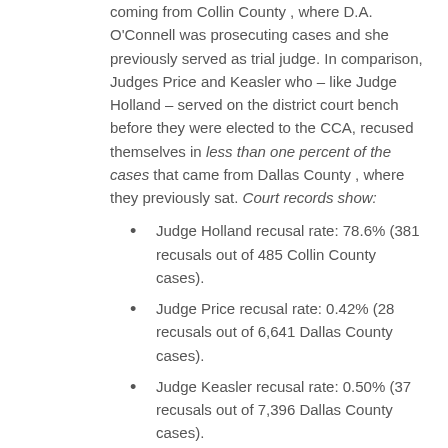coming from Collin County , where D.A. O'Connell was prosecuting cases and she previously served as trial judge. In comparison, Judges Price and Keasler who – like Judge Holland – served on the district court bench before they were elected to the CCA, recused themselves in less than one percent of the cases that came from Dallas County , where they previously sat. Court records show:
Judge Holland recusal rate: 78.6% (381 recusals out of 485 Collin County cases).
Judge Price recusal rate: 0.42% (28 recusals out of 6,641 Dallas County cases).
Judge Keasler recusal rate: 0.50% (37 recusals out of 7,396 Dallas County cases).
"Judge Holland's recusing herself at a rate nearly 160 times more than her fellow jurists cries out